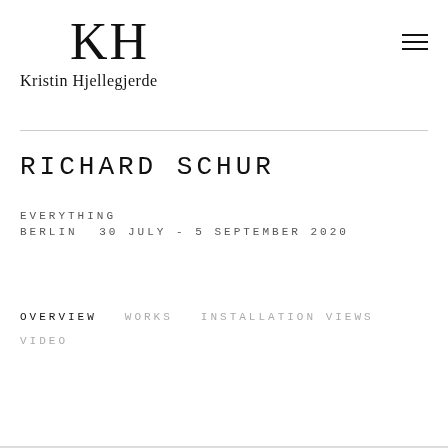[Figure (logo): KH monogram logo for Kristin Hjellegjerde gallery]
Kristin Hjellegjerde
RICHARD SCHUR
EVERYTHING
BERLIN   30 JULY - 5 SEPTEMBER 2020
OVERVIEW
WORKS
INSTALLATION VIEWS
VIDEO